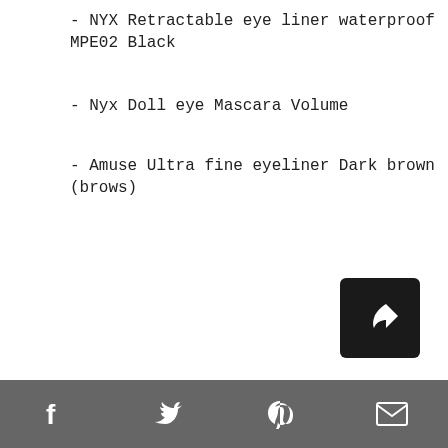- NYX Retractable eye liner waterproof MPE02 Black
- Nyx Doll eye Mascara Volume
- Amuse Ultra fine eyeliner Dark brown (brows)
[Figure (other): Share/forward button icon — black rounded square with white arrow symbol]
Social share icons: Facebook, Twitter, Pinterest, Email